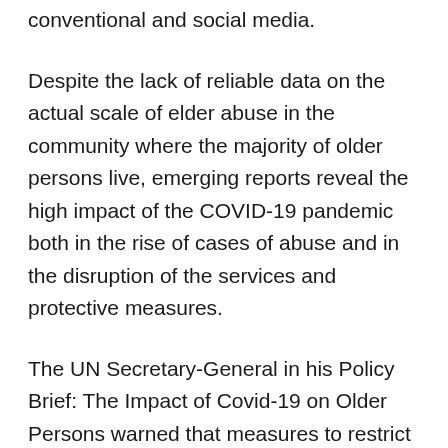conventional and social media.
Despite the lack of reliable data on the actual scale of elder abuse in the community where the majority of older persons live, emerging reports reveal the high impact of the COVID-19 pandemic both in the rise of cases of abuse and in the disruption of the services and protective measures.
The UN Secretary-General in his Policy Brief: The Impact of Covid-19 on Older Persons warned that measures to restrict movement may trigger greater incidence of violence against older persons and all types of abuse – physical, emotional, financial and sexual as well as neglect. He also claimed that the lack of adequate health system, the older...